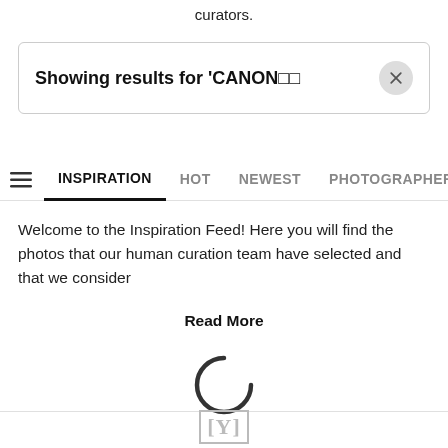curators.
Showing results for 'CANON□□
INSPIRATION   HOT   NEWEST   PHOTOGRAPHERS
Welcome to the Inspiration Feed! Here you will find the photos that our human curation team have selected and that we consider
Read More
[Figure (other): Loading spinner icon (arc circle)]
[Figure (logo): [Y] logo watermark in light gray]